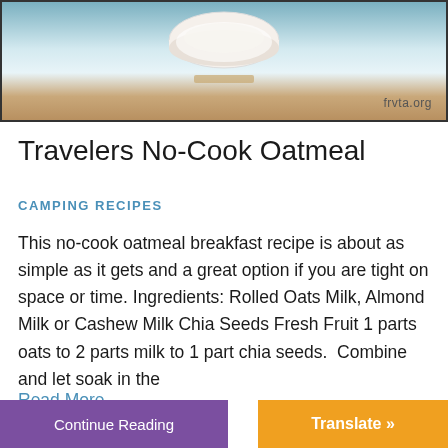[Figure (photo): Photo of a bowl or cup of oatmeal with a light blue/grey background, watermark text frvta.org in lower right]
Travelers No-Cook Oatmeal
CAMPING RECIPES
This no-cook oatmeal breakfast recipe is about as simple as it gets and a great option if you are tight on space or time. Ingredients: Rolled Oats Milk, Almond Milk or Cashew Milk Chia Seeds Fresh Fruit 1 parts oats to 2 parts milk to 1 part chia seeds.  Combine and let soak in the
Read More
Continue Reading
Translate »